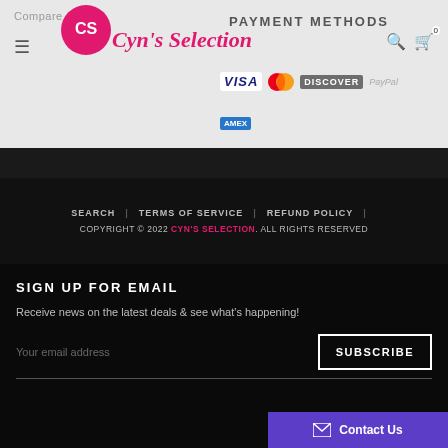Compare
[Figure (logo): Cyn's Selection logo - pink circle with CS letters and cursive text]
PAYMENT METHODS
[Figure (infographic): Payment method logos: VISA, Mastercard, DISCOVER, PayPal, Amex]
SEARCH | TERMS OF SERVICE | REFUND POLICY | COPYRIGHT © 2022 CYN'S SELECTION. ALL RIGHTS RESERVED
SIGN UP FOR EMAIL
Receive news on the latest deals & see what's happening!
Your email address
SUBSCRIBE
Contact Us